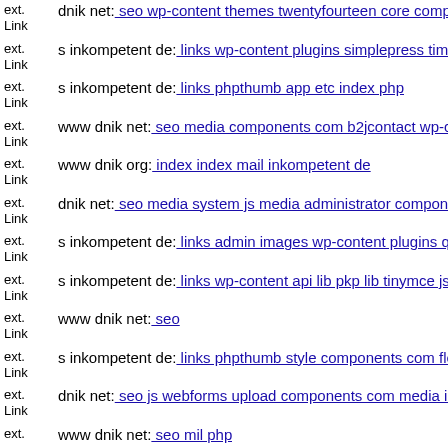ext. Link dnik net: seo wp-content themes twentyfourteen core compone...
ext. Link s inkompetent de: links wp-content plugins simplepress timthu...
ext. Link s inkompetent de: links phpthumb app etc index php
ext. Link www dnik net: seo media components com b2jcontact wp-cont...
ext. Link www dnik org: index index mail inkompetent de
ext. Link dnik net: seo media system js media administrator components...
ext. Link s inkompetent de: links admin images wp-content plugins quiz...
ext. Link s inkompetent de: links wp-content api lib pkp lib tinymce jscri...
ext. Link www dnik net: seo
ext. Link s inkompetent de: links phpthumb style components com flexio...
ext. Link dnik net: seo js webforms upload components com media index...
ext. www dnik net: seo mil php...